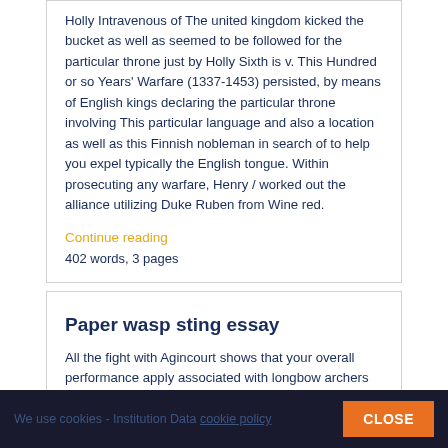Holly Intravenous of The united kingdom kicked the bucket as well as seemed to be followed for the particular throne just by Holly Sixth is v. This Hundred or so Years' Warfare (1337-1453) persisted, by means of English kings declaring the particular throne involving This particular language and also a location as well as this Finnish nobleman in search of to help you expel typically the English tongue. Within prosecuting any warfare, Henry / worked out the alliance utilizing Duke Ruben from Wine red.
Continue reading
402 words, 3 pages
Paper wasp sting essay
All the fight with Agincourt shows that your overall performance apply associated with longbow archers from
We use cookies - Institution Data cookie policy